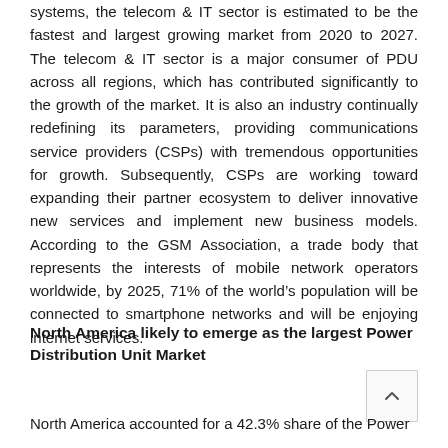systems, the telecom & IT sector is estimated to be the fastest and largest growing market from 2020 to 2027. The telecom & IT sector is a major consumer of PDU across all regions, which has contributed significantly to the growth of the market. It is also an industry continually redefining its parameters, providing communications service providers (CSPs) with tremendous opportunities for growth. Subsequently, CSPs are working toward expanding their partner ecosystem to deliver innovative new services and implement new business models. According to the GSM Association, a trade body that represents the interests of mobile network operators worldwide, by 2025, 71% of the world's population will be connected to smartphone networks and will be enjoying internet services.
North America likely to emerge as the largest Power Distribution Unit Market
North America accounted for a 42.3% share of the Power